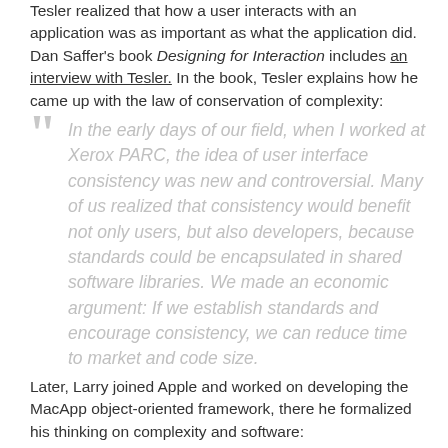Tesler realized that how a user interacts with an application was as important as what the application did. Dan Saffer's book Designing for Interaction includes an interview with Tesler. In the book, Tesler explains how he came up with the law of conservation of complexity:
In the early days of our field, when I worked at Xerox PARC, the idea of user interface consistency was new and controversial. Many of us realized that consistency would benefit not only users, but also developers, because standards could be encapsulated in shared software libraries. We made an economic argument: If we establish standards and encourage consistency, we can reduce time to market and code size.
Later, Larry joined Apple and worked on developing the MacApp object-oriented framework, there he formalized his thinking on complexity and software: